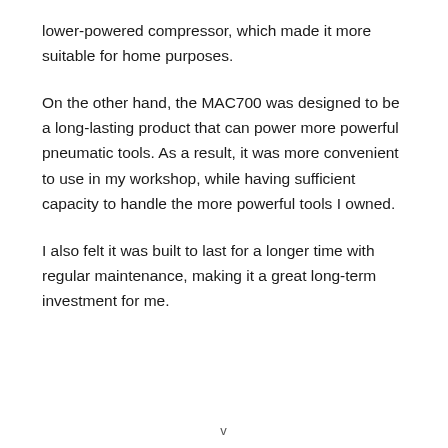lower-powered compressor, which made it more suitable for home purposes.
On the other hand, the MAC700 was designed to be a long-lasting product that can power more powerful pneumatic tools. As a result, it was more convenient to use in my workshop, while having sufficient capacity to handle the more powerful tools I owned.
I also felt it was built to last for a longer time with regular maintenance, making it a great long-term investment for me.
v